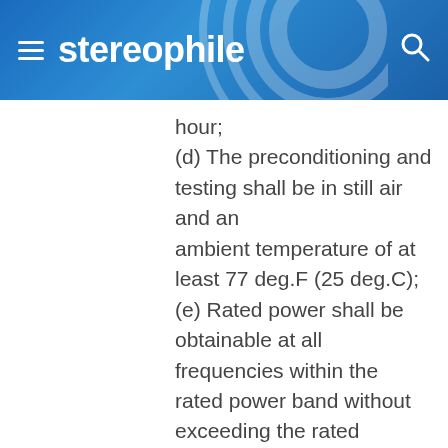stereophile
hour; (d) The preconditioning and testing shall be in still air and an ambient temperature of at least 77 deg.F (25 deg.C); (e) Rated power shall be obtainable at all frequencies within the rated power band without exceeding the rated maximum percentage of total harmonic distortion after input signals at said frequencies